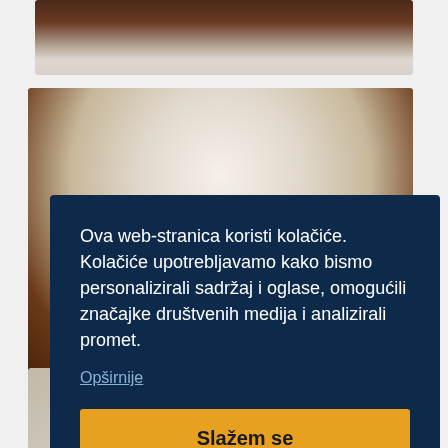[Figure (photo): Partial view of a yacht interior cabin with dark wood paneling and light ceiling/bedding visible at top]
[Figure (photo): Yacht interior cabin showing a central bed with white pillows, dark wood paneling on sides, recessed lighting, and striped blinds on portholes]
Ova web-stranica koristi kolačiće. Kolačiće upotrebljavamo kako bismo personalizirali sadržaj i oglase, omogućili značajke društvenih medija i analizirali promet.
Opširnije
Slažem se
[Figure (photo): Partial view of another yacht interior area with light-colored furnishings, partially cut off at bottom of page]